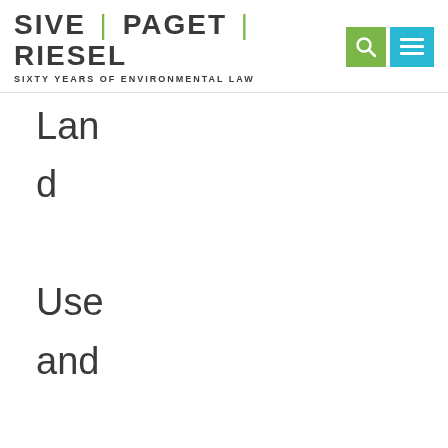[Figure (logo): Sive Paget Riesel law firm logo with tagline 'Sixty Years of Environmental Law', search icon (green background), and menu icon (cyan background)]
Land Use and Municipal Litigation